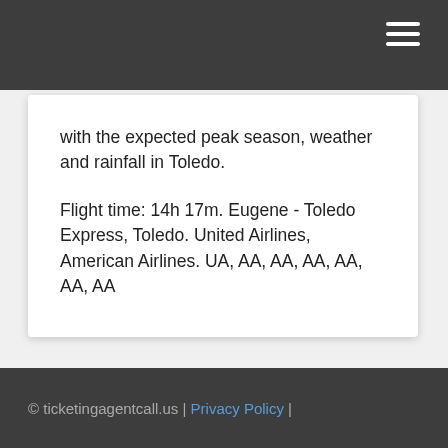☰
with the expected peak season, weather and rainfall in Toledo.
Flight time: 14h 17m. Eugene - Toledo Express, Toledo. United Airlines, American Airlines. UA, AA, AA, AA, AA, AA, AA
© ticketingagentcall.us | Privacy Policy |